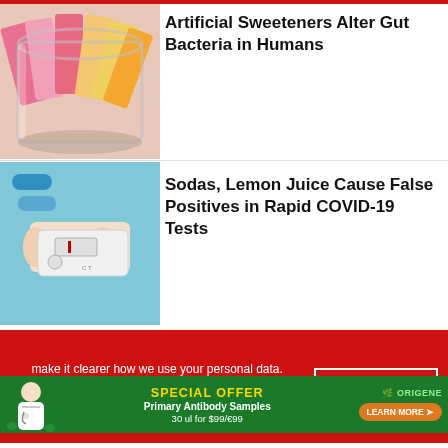[Figure (photo): Glass jar filled with colorful artificial sweetener packets (pink, yellow) — photo illustration for article about sweeteners]
Artificial Sweeteners Alter Gut Bacteria in Humans
[Figure (photo): Hand holding a rapid COVID-19 lateral flow antigen test device showing result window — blue background with capsules]
Sodas, Lemon Juice Cause False Positives in Rapid COVID-19 Tests
make it clearer how we use your personal data. Please read our Cookie Policy to learn how we use cookies to provide you
I UNDERSTAND
[Figure (infographic): OriGene advertisement: Special Offer — Primary Antibody Samples 30 ul for $99/€99 — Learn More button, doctor illustration, green background]
ADVERTISEMENT